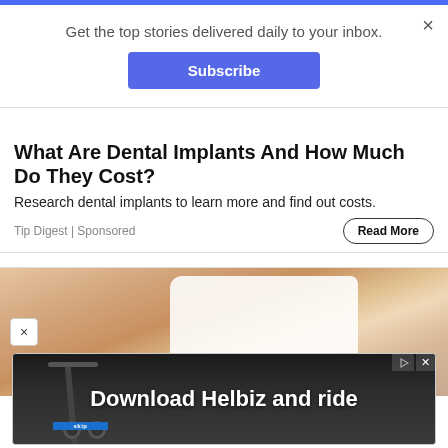Get the top stories delivered daily to your inbox.
Subscribe
What Are Dental Implants And How Much Do They Cost?
Research dental implants to learn more and find out costs.
Tip Digest | Sponsored
Read More
[Figure (photo): Woman in white tank top, cropped torso view, with a close button on the left side]
[Figure (photo): Advertisement banner for Helbiz with text 'Download Helbiz and ride' over a dark background with a scooter image. Has ad label icon and close X in top right.]